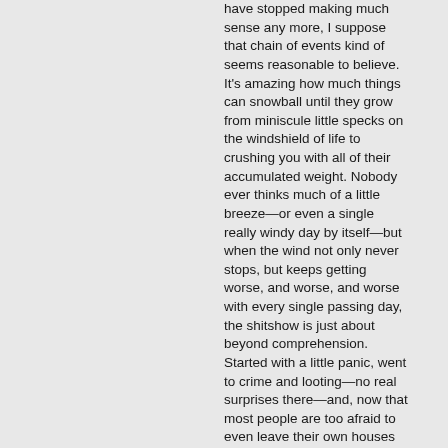have stopped making much sense any more, I suppose that chain of events kind of seems reasonable to believe. It's amazing how much things can snowball until they grow from miniscule little specks on the windshield of life to crushing you with all of their accumulated weight. Nobody ever thinks much of a little breeze—or even a single really windy day by itself—but when the wind not only never stops, but keeps getting worse, and worse, and worse with every single passing day, the shitshow is just about beyond comprehension. Started with a little panic, went to crime and looting—no real surprises there—and, now that most people are too afraid to even leave their own houses on a regular basis, ...